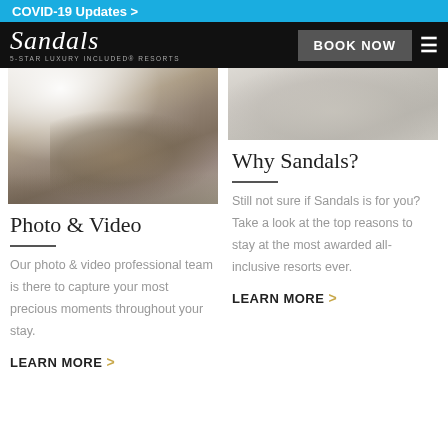COVID-19 Updates >
[Figure (logo): Sandals 5-Star Luxury Included Resorts logo on black background with BOOK NOW button and hamburger menu]
[Figure (photo): Wedding dress/veil close-up with beaded details and decorative elements]
Photo & Video
Our photo & video professional team is there to capture your most precious moments throughout your stay.
LEARN MORE >
[Figure (photo): Light sandy/beach textured image in gray tones]
Why Sandals?
Still not sure if Sandals is for you? Take a look at the top reasons to stay at the most awarded all-inclusive resorts ever.
LEARN MORE >